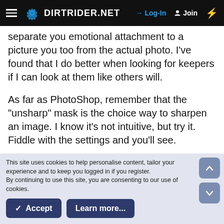DIRTRIDER.NET — Log-In — Join
separate you emotional attachment to a picture you too from the actual photo. I've found that I do better when looking for keepers if I can look at them like others will.
As far as PhotoShop, remember that the "unsharp" mask is the choice way to sharpen an image. I know it's not intuitive, but try it. Fiddle with the settings and you'll see.
There is a lot that goes into a good lens. Better glass is the biggest thing, but you also need to be
This site uses cookies to help personalise content, tailor your experience and to keep you logged in if you register.
By continuing to use this site, you are consenting to our use of cookies.
✓ Accept   Learn more...